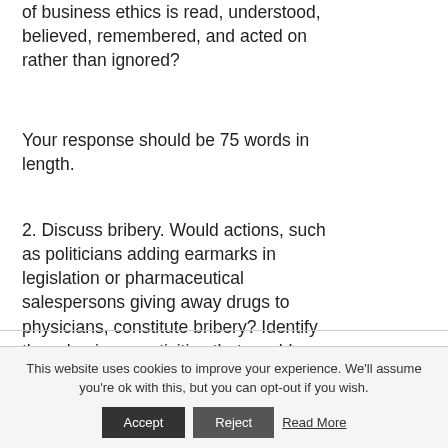of business ethics is read, understood, believed, remembered, and acted on rather than ignored?
Your response should be 75 words in length.
2. Discuss bribery. Would actions, such as politicians adding earmarks in legislation or pharmaceutical salespersons giving away drugs to physicians, constitute bribery? Identify three business activities that would constitute bribery and three actions that would not.
This website uses cookies to improve your experience. We'll assume you're ok with this, but you can opt-out if you wish.